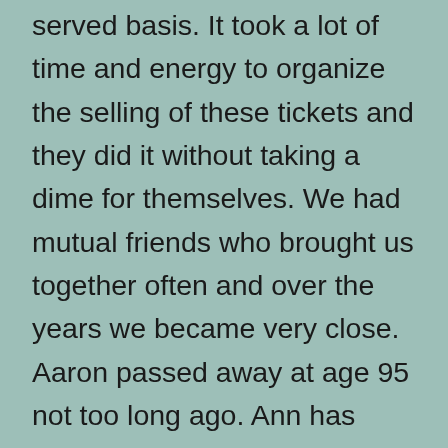served basis. It took a lot of time and energy to organize the selling of these tickets and they did it without taking a dime for themselves. We had mutual friends who brought us together often and over the years we became very close. Aaron passed away at age 95 not too long ago. Ann has dementia, but we had a Skype call a few months ago and there were moments where she was her old self; funny and smart. My friendship with Ann and Aaron started at the theatre, however, it extended far beyond that for over 30 years. The common denominator was our love of the theatre; for a long time our lives revolved around shows and